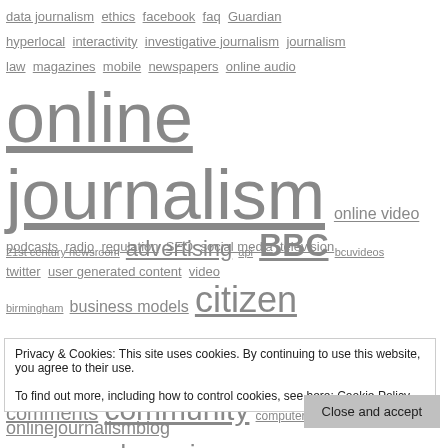data journalism  ethics  facebook  faq  Guardian  hyperlocal  interactivity  investigative journalism  journalism  law  magazines  mobile  newspapers  online audio  online journalism  online video  podcasts  radio  regulation  SEO  social media  television  twitter  user generated content  video
21st century newsroom  advertising  api  BBC  bcuvideos  birmingham  business models  citizen journalism  comments  community  computer aided reporting  copyright  crowdsourcing  daily mail  Damian Radcliffe  data  data journalism  data journalism  delicious  enterprise  ethics  facebook  foi  future journalism
Privacy & Cookies: This site uses cookies. By continuing to use this website, you agree to their use. To find out more, including how to control cookies, see here: Cookie Policy
Close and accept
onlinejournalismblog  online journalism education